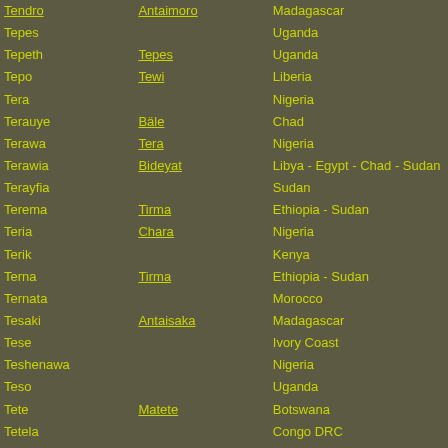| Name | Also known as | Country |
| --- | --- | --- |
| Tendro | Antaimoro | Madagascar |
| Tepes |  | Uganda |
| Tepeth | Tepes | Uganda |
| Tepo | Tewi | Liberia |
| Tera |  | Nigeria |
| Terauye | Bäle | Chad |
| Terawa | Tera | Nigeria |
| Terawia | Bideyat | Libya - Egypt - Chad - Sudan |
| Terayfia |  | Sudan |
| Terema | Tirma | Ethiopia - Sudan |
| Teria | Chara | Nigeria |
| Terik |  | Kenya |
| Terna | Tirma | Ethiopia - Sudan |
| Ternata |  | Morocco |
| Tesaki | Antaisaka | Madagascar |
| Tese |  | Ivory Coast |
| Teshenawa |  | Nigeria |
| Teso |  | Uganda |
| Tete | Matete | Botswana |
| Tetela |  | Congo DRC |
| Tetemang |  | Ghana -Togo |
| Teuso | Karamojo | Kenya |
| Teve | Tewe | Mozambique |
| Tewe |  | Mozambique |
| Tewi |  | Liberia |
| Thabina |  | South Africa |
| Tharaka | Theraka | Kenya |
| Thembu | Tembu | South Africa |